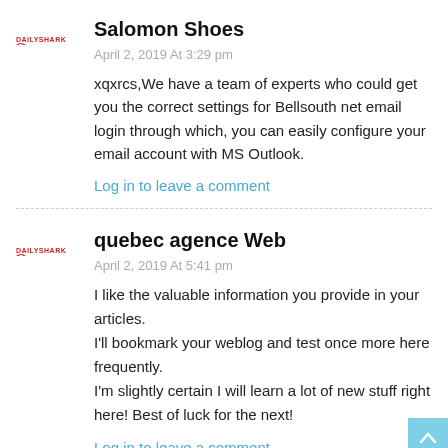[Figure (logo): DailyShark logo - red text mark]
Salomon Shoes
April 2, 2019 At 3:29 pm
xqxrcs,We have a team of experts who could get you the correct settings for Bellsouth net email login through which, you can easily configure your email account with MS Outlook.
Log in to leave a comment
[Figure (logo): DailyShark logo - red text mark]
quebec agence Web
April 2, 2019 At 5:41 pm
I like the valuable information you provide in your articles.
I'll bookmark your weblog and test once more here frequently.
I'm slightly certain I will learn a lot of new stuff right here! Best of luck for the next!
Log in to leave a comment